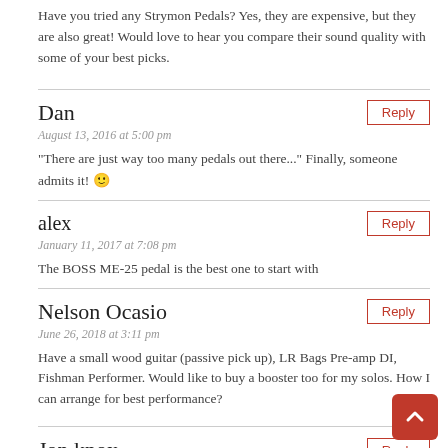Have you tried any Strymon Pedals? Yes, they are expensive, but they are also great! Would love to hear you compare their sound quality with some of your best picks.
"There are just way too many pedals out there..." Finally, someone admits it! 🙂
Dan
August 13, 2016 at 5:00 pm
alex
January 11, 2017 at 7:08 pm
The BOSS ME-25 pedal is the best one to start with
Nelson Ocasio
June 26, 2018 at 3:11 pm
Have a small wood guitar (passive pick up), LR Bags Pre-amp DI, Fishman Performer. Would like to buy a booster too for my solos. How I can arrange for best performance?
Jon knox